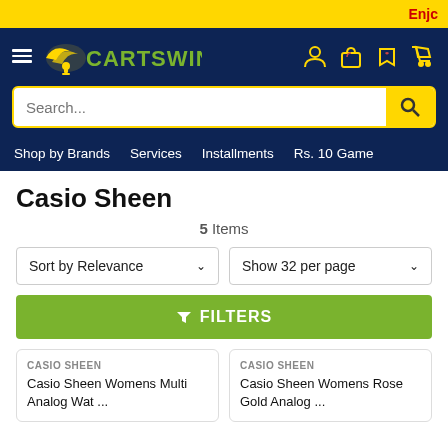Enjc
[Figure (logo): CartSwing logo with navigation icons on dark blue background and search bar]
Shop by Brands  Services  Installments  Rs. 10 Game
Casio Sheen
5 Items
Sort by Relevance
Show 32 per page
FILTERS
CASIO SHEEN
Casio Sheen Womens Multi Analog Wat ...
CASIO SHEEN
Casio Sheen Womens Rose Gold Analog ...